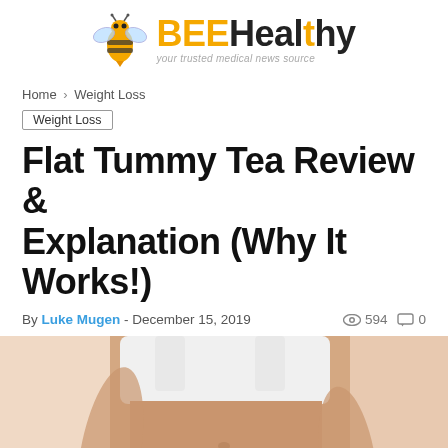BEEHealthy — your trusted medical news source
Home > Weight Loss
Weight Loss
Flat Tummy Tea Review & Explanation (Why It Works!)
By Luke Mugen - December 15, 2019   594   0
[Figure (photo): Close-up photo of a woman's slim midsection wearing a white sports bra and light blue underwear, with a measuring tape wrapped around her waist]